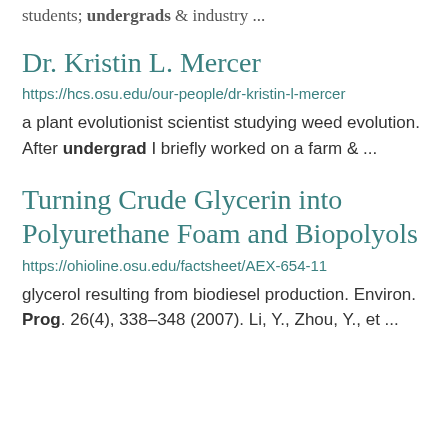students, undergrads & industry ...
Dr. Kristin L. Mercer
https://hcs.osu.edu/our-people/dr-kristin-l-mercer
a plant evolutionist scientist studying weed evolution. After undergrad I briefly worked on a farm & ...
Turning Crude Glycerin into Polyurethane Foam and Biopolyols
https://ohioline.osu.edu/factsheet/AEX-654-11
glycerol resulting from biodiesel production. Environ. Prog. 26(4), 338–348 (2007). Li, Y., Zhou, Y., et ...